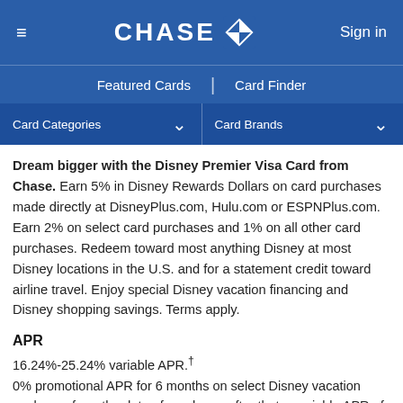≡  CHASE  Sign in
Featured Cards | Card Finder
Card Categories ∨   Card Brands ∨
Dream bigger with the Disney Premier Visa Card from Chase. Earn 5% in Disney Rewards Dollars on card purchases made directly at DisneyPlus.com, Hulu.com or ESPNPlus.com. Earn 2% on select card purchases and 1% on all other card purchases. Redeem toward most anything Disney at most Disney locations in the U.S. and for a statement credit toward airline travel. Enjoy special Disney vacation financing and Disney shopping savings. Terms apply.
APR
16.24%-25.24% variable APR.† 0% promotional APR for 6 months on select Disney vacation packages from the date of purchase, after that a variable APR of 16.24%-25.24%.†